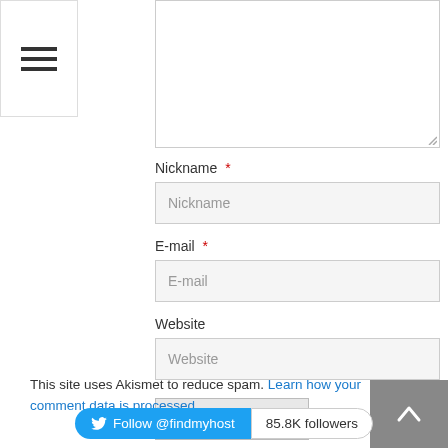[Figure (other): Hamburger menu icon with three horizontal lines]
[Textarea/comment input box - top portion visible]
Nickname *
Nickname (placeholder in input field)
E-mail *
E-mail (placeholder in input field)
Website
Website (placeholder in input field)
Post a Comment
Confirm you are NOT a spammer
This site uses Akismet to reduce spam. Learn how your comment data is processed.
[Figure (other): Back to top arrow button (dark grey square with up chevron)]
Follow @findmyhost    85.8K followers